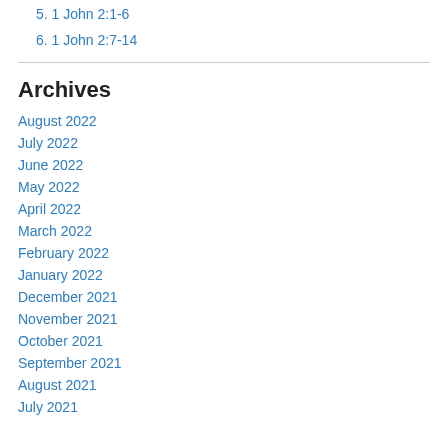5. 1 John 2:1-6
6. 1 John 2:7-14
Archives
August 2022
July 2022
June 2022
May 2022
April 2022
March 2022
February 2022
January 2022
December 2021
November 2021
October 2021
September 2021
August 2021
July 2021